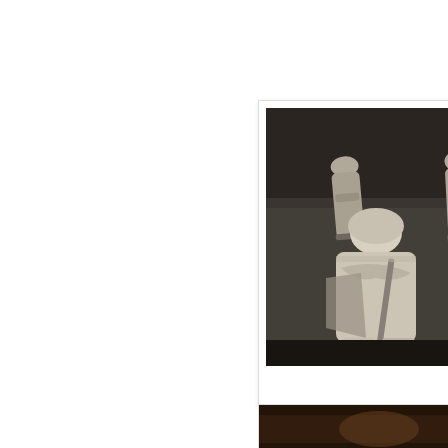[Figure (photo): Photograph of stone effigies lying on tomb slabs inside Temple Church, London. Several carved stone knight figures are visible lying on their backs on raised stone plinths. The image is taken from an elevated angle in a dimly lit interior with arched windows visible in the background. A label reading 'WILLIAM MARSHAL' is partially visible at the bottom of the image.]
Effigy at the Temple Church